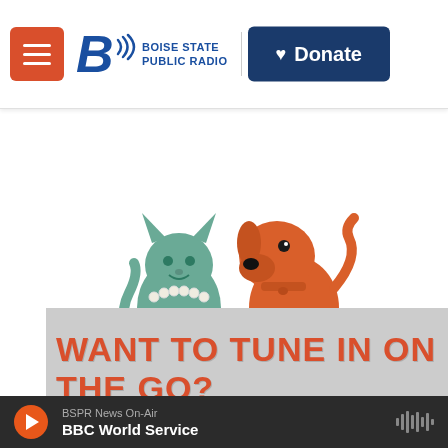[Figure (logo): Boise State Public Radio and NPR logos with menu button and Donate button in header]
[Figure (illustration): Cartoon illustration of a teal/green cat and an orange dog facing each other, advertisement graphic]
[Figure (screenshot): Bottom promotional banner with text 'WANT TO TUNE IN ON THE GO?' in orange on a gray brick background]
BSPR News On-Air
BBC World Service